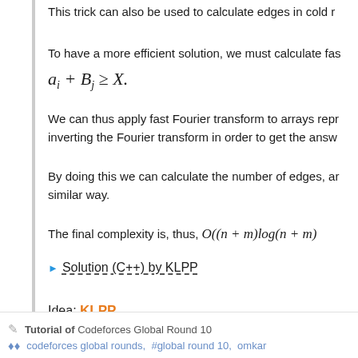This trick can also be used to calculate edges in cold r
To have a more efficient solution, we must calculate fas
We can thus apply fast Fourier transform to arrays repr inverting the Fourier transform in order to get the answ
By doing this we can calculate the number of edges, a similar way.
The final complexity is, thus, O((n + m)log(n + m)
Solution (C++) by KLPP
Idea: KLPP
Preparation: KLPP
Tutorial of Codeforces Global Round 10
codeforces global rounds,  #global round 10,  omkar